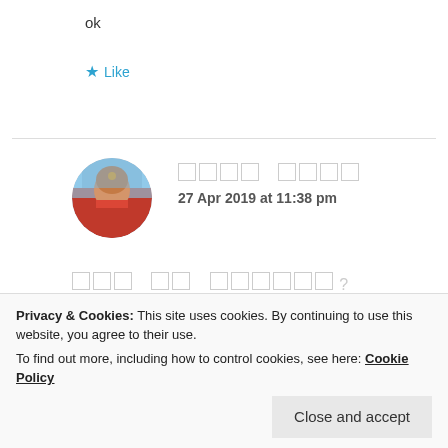ok
★ Like
[Figure (photo): Circular avatar photo of a woman in traditional Indian attire]
[name in non-Latin script] 27 Apr 2019 at 11:38 pm
[comment in non-Latin script]?
★ Like
Privacy & Cookies: This site uses cookies. By continuing to use this website, you agree to their use. To find out more, including how to control cookies, see here: Cookie Policy
Close and accept
28 Apr 2019 at 10:34 pm